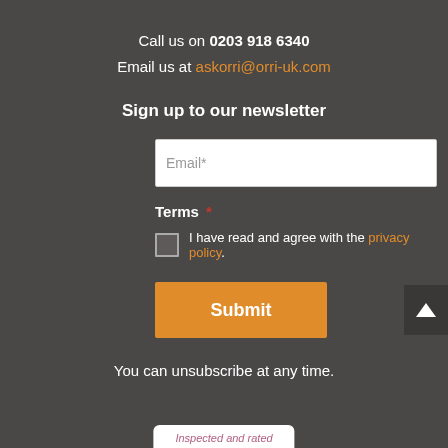Call us on 0203 918 6340
Email us at askorri@orri-uk.com
Sign up to our newsletter
Email*
Terms *
I have read and agree with the privacy policy.
Submit
You can unsubscribe at any time.
Inspected and rated